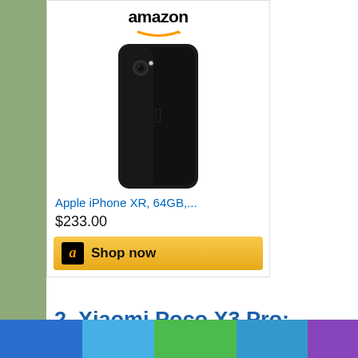[Figure (screenshot): Amazon product listing card for Apple iPhone XR 64GB showing product image, title link, price $233.00 and Shop now button]
2. Xiaomi Poco X3 Pro:
[Figure (photo): Photo of Xiaomi Poco X3 Pro smartphone showing back with circular camera module and front with POCO branding]
[Figure (other): Footer color bar with five colored segments: blue, light blue, green, medium blue, purple]